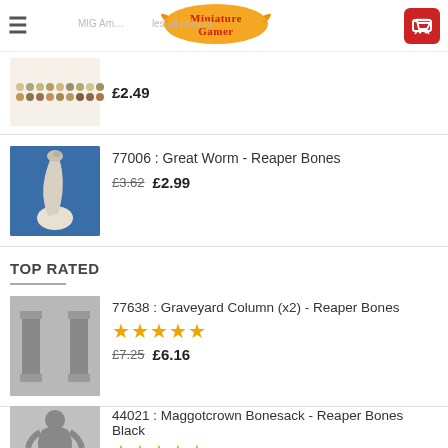MIG Am... ...les all colours
£2.49
77006 : Great Worm - Reaper Bones £3.62 £2.99
TOP RATED
77638 : Graveyard Column (x2) - Reaper Bones ★★★★★ £7.25 £6.16
44021 : Maggotcrown Bonesack - Reaper Bones Black ★★★★★ £3.71 £3.15